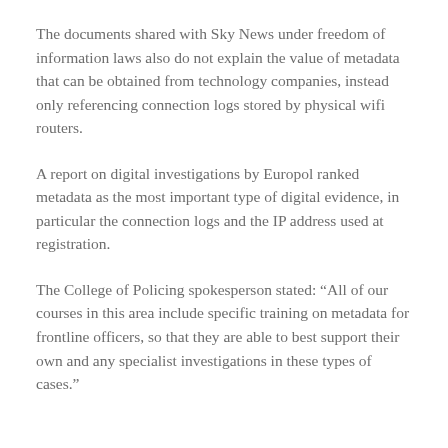The documents shared with Sky News under freedom of information laws also do not explain the value of metadata that can be obtained from technology companies, instead only referencing connection logs stored by physical wifi routers.
A report on digital investigations by Europol ranked metadata as the most important type of digital evidence, in particular the connection logs and the IP address used at registration.
The College of Policing spokesperson stated: “All of our courses in this area include specific training on metadata for frontline officers, so that they are able to best support their own and any specialist investigations in these types of cases.”